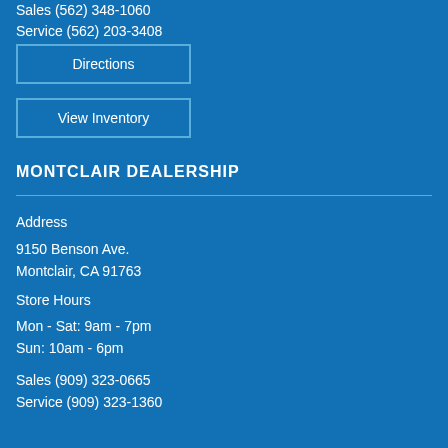Sales (562) 348-1060
Service (562) 203-3408
Directions
View Inventory
MONTCLAIR DEALERSHIP
Address
9150 Benson Ave.
Montclair, CA 91763
Store Hours
Mon - Sat: 9am - 7pm
Sun: 10am - 6pm
Sales (909) 323-0665
Service (909) 323-1360